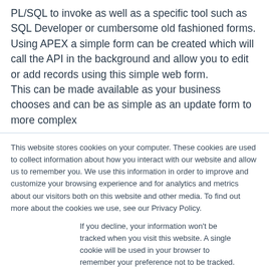PL/SQL to invoke as well as a specific tool such as SQL Developer or cumbersome old fashioned forms. Using APEX a simple form can be created which will call the API in the background and allow you to edit or add records using this simple web form. This can be made available as your business chooses and can be as simple as an update form to more complex
This website stores cookies on your computer. These cookies are used to collect information about how you interact with our website and allow us to remember you. We use this information in order to improve and customize your browsing experience and for analytics and metrics about our visitors both on this website and other media. To find out more about the cookies we use, see our Privacy Policy.
If you decline, your information won't be tracked when you visit this website. A single cookie will be used in your browser to remember your preference not to be tracked.
Accept
Decline